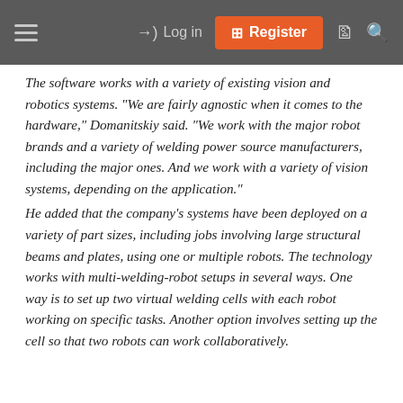Log in | Register
The software works with a variety of existing vision and robotics systems. “We are fairly agnostic when it comes to the hardware,” Domanitskiy said. “We work with the major robot brands and a variety of welding power source manufacturers, including the major ones. And we work with a variety of vision systems, depending on the application.”
He added that the company’s systems have been deployed on a variety of part sizes, including jobs involving large structural beams and plates, using one or multiple robots. The technology works with multi-welding-robot setups in several ways. One way is to set up two virtual welding cells with each robot working on specific tasks. Another option involves setting up the cell so that two robots can work collaboratively.